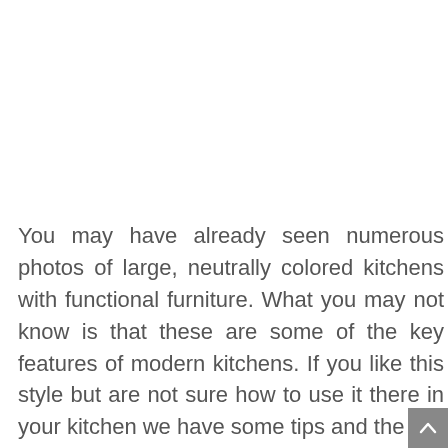You may have already seen numerous photos of large, neutrally colored kitchens with functional furniture. What you may not know is that these are some of the key features of modern kitchens. If you like this style but are not sure how to use it there in your kitchen we have some tips and the